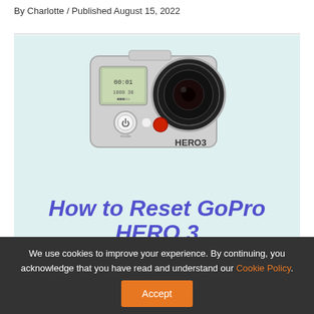By Charlotte / Published August 15, 2022
[Figure (photo): GoPro HERO3 camera on light blue background with text 'How to Reset GoPro HERO 3' in bold italic purple]
We use cookies to improve your experience. By continuing, you acknowledge that you have read and understand our Cookie Policy. Accept